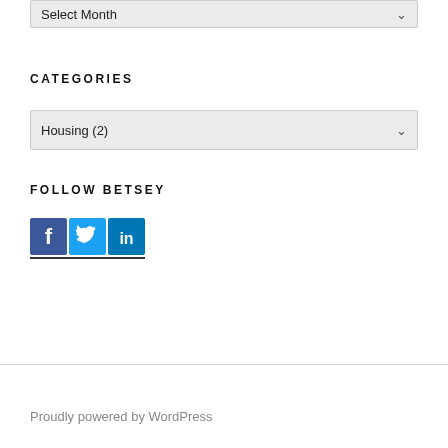Select Month
CATEGORIES
Housing (2)
FOLLOW BETSEY
[Figure (other): Social media icons for Facebook, Twitter, and LinkedIn]
Proudly powered by WordPress